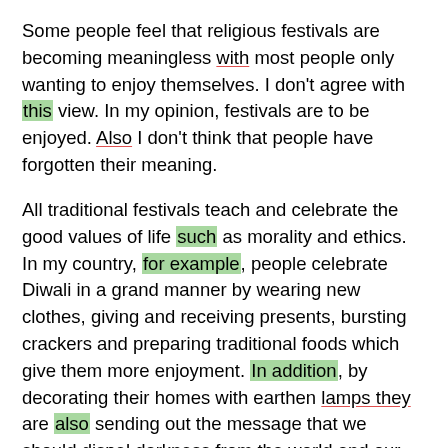Some people feel that religious festivals are becoming meaningless with most people only wanting to enjoy themselves. I don't agree with this view. In my opinion, festivals are to be enjoyed. Also I don't think that people have forgotten their meaning.
All traditional festivals teach and celebrate the good values of life such as morality and ethics. In my country, for example, people celebrate Diwali in a grand manner by wearing new clothes, giving and receiving presents, bursting crackers and preparing traditional foods which give them more enjoyment. In addition, by decorating their homes with earthen lamps they are also sending out the message that we should dispel darkness from the world and our lives. Similar behaviour can be seen during the non-religious festivals like Bogi. People come together making bonfires, watching fireworks displays, and participating in the cultural events held in local parks.